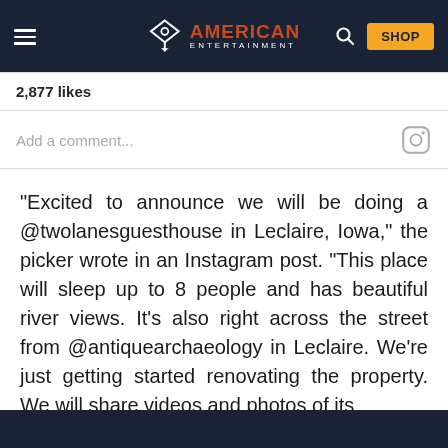American Entertainment — SHOP
2,877 likes
Add a comment...
“Excited to announce we will be doing a @twolanesguesthouse in Leclaire, Iowa,” the picker wrote in an Instagram post. “This place will sleep up to 8 people and has beautiful river views. It’s also right across the street from @antiquearchaeology in Leclaire. We’re just getting started renovating the property. We will share videos and photos of its